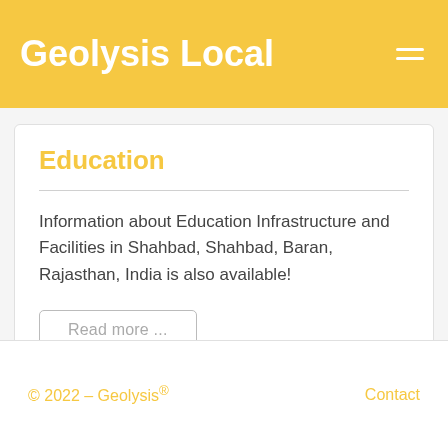Geolysis Local
Education
Information about Education Infrastructure and Facilities in Shahbad, Shahbad, Baran, Rajasthan, India is also available!
Read more ...
© 2022 – Geolysis® Contact